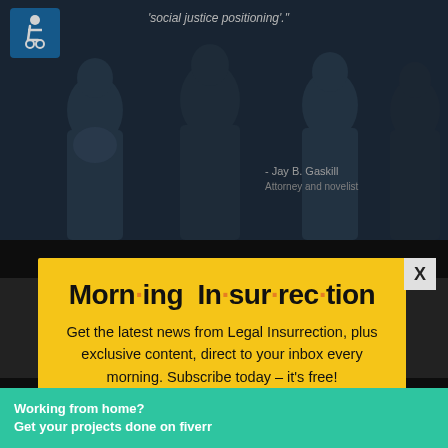[Figure (screenshot): Website screenshot background showing dark-themed web page with photo of people silhouettes, quote attribution to Jay B. Gaskill, Attorney and novelist, and accessibility icon]
Morn·ing In·sur·rec·tion
Get the latest news from Legal Insurrection, plus exclusive content, direct to your inbox every morning. Subscribe today – it's free!
[Figure (infographic): JOIN NOW button with envelope icon, orange background with dark border]
Working from home? Get your projects done on fiverr